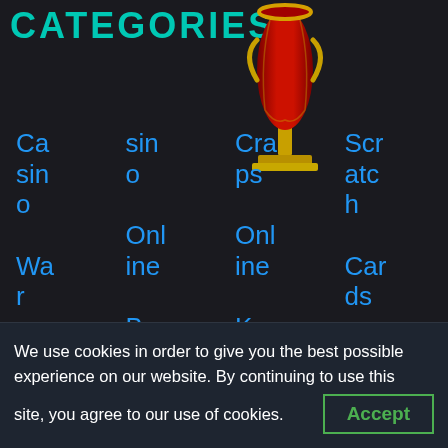CATEGORIES
[Figure (illustration): A decorative trophy/cup icon with gold base and red body, positioned vertically in the upper right area]
Casino War
Casino Online Baccarat
Craps Online Keno Online
Scratch Cards Sic Bo Sp
Gambling Online
We use cookies in order to give you the best possible experience on our website. By continuing to use this site, you agree to our use of cookies.
Accept